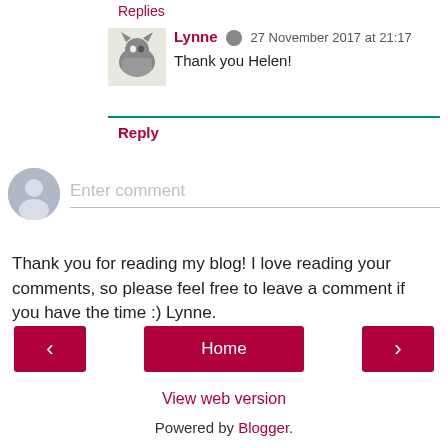Replies
Lynne · 27 November 2017 at 21:17
Thank you Helen!
Reply
Enter comment
Thank you for reading my blog! I love reading your comments, so please feel free to leave a comment if you have the time :) Lynne.
‹
Home
›
View web version
Powered by Blogger.